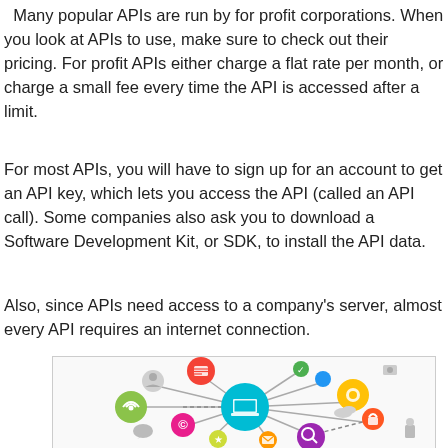Many popular APIs are run by for profit corporations.  When you look at APIs to use, make sure to check out their pricing.  For profit APIs either charge a flat rate per month, or charge a small fee every time the API is accessed after a limit.
For most APIs, you will have to sign up for an account to get an API key, which lets you access the API (called an API call).  Some companies also ask you to download a Software Development Kit, or SDK, to install the API data.
Also, since APIs need access to a company's server, almost every API requires an internet connection.
[Figure (infographic): Colorful infographic showing interconnected circles with icons representing various digital services and APIs connected by lines to a central laptop/computer icon.]